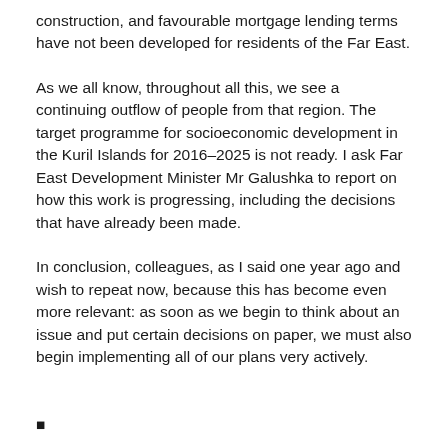construction, and favourable mortgage lending terms have not been developed for residents of the Far East.
As we all know, throughout all this, we see a continuing outflow of people from that region. The target programme for socioeconomic development in the Kuril Islands for 2016–2025 is not ready. I ask Far East Development Minister Mr Galushka to report on how this work is progressing, including the decisions that have already been made.
In conclusion, colleagues, as I said one year ago and wish to repeat now, because this has become even more relevant: as soon as we begin to think about an issue and put certain decisions on paper, we must also begin implementing all of our plans very actively.